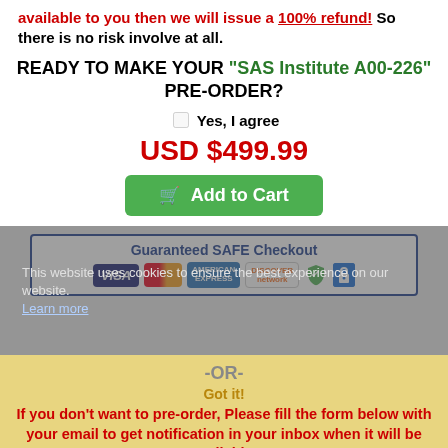available to you then we will issue a 100% refund! So there is no risk involve at all.
READY TO MAKE YOUR "SAS Institute A00-226" PRE-ORDER?
Yes, I agree
USD $499.99
Add to Cart
[Figure (infographic): Guaranteed SAFE Checkout banner with VISA, Mastercard, American Express, Discover logos, a green shield checkmark and blue lock icon]
This website uses cookies to ensure the best experience on our website. Learn more
-OR-
Got it!
If you don't want to pre-order, Please fill the form below with your email to get notification in your inbox when it will be available.